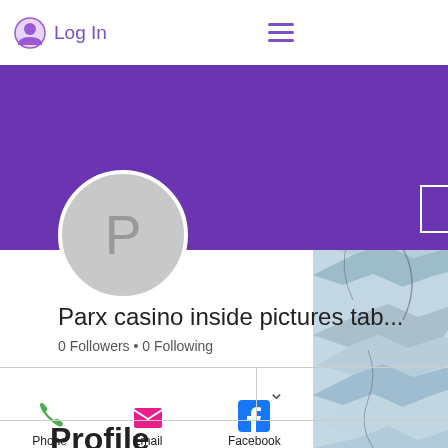Log In
[Figure (screenshot): Purple profile banner with Follow button and three-dot menu]
Parx casino inside pictures tab...
0 Followers • 0 Following
Profile
[Figure (infographic): Phone, Email, Facebook contact icons at bottom]